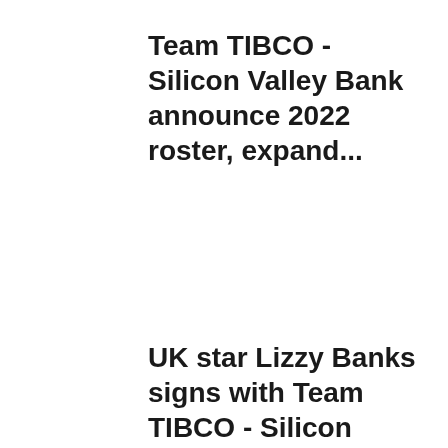Team TIBCO - Silicon Valley Bank announce 2022 roster, expand...
UK star Lizzy Banks signs with Team TIBCO - Silicon Valley Bank